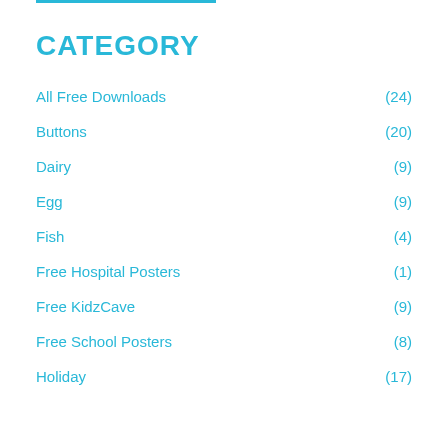CATEGORY
All Free Downloads (24)
Buttons (20)
Dairy (9)
Egg (9)
Fish (4)
Free Hospital Posters (1)
Free KidzCave (9)
Free School Posters (8)
Holiday (17)